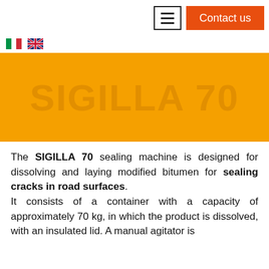Contact us
[Figure (other): Orange banner with watermark text SIGILLA 70]
The SIGILLA 70 sealing machine is designed for dissolving and laying modified bitumen for sealing cracks in road surfaces. It consists of a container with a capacity of approximately 70 kg, in which the product is dissolved, with an insulated lid. A manual agitator is